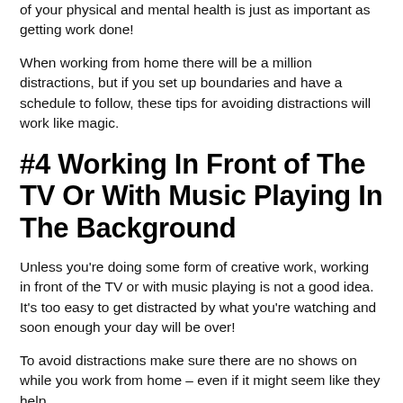maybe go to the gym or meet up with friends – taking care of your physical and mental health is just as important as getting work done!
When working from home there will be a million distractions, but if you set up boundaries and have a schedule to follow, these tips for avoiding distractions will work like magic.
#4 Working In Front of The TV Or With Music Playing In The Background
Unless you're doing some form of creative work, working in front of the TV or with music playing is not a good idea. It's too easy to get distracted by what you're watching and soon enough your day will be over!
To avoid distractions make sure there are no shows on while you work from home – even if it might seem like they help